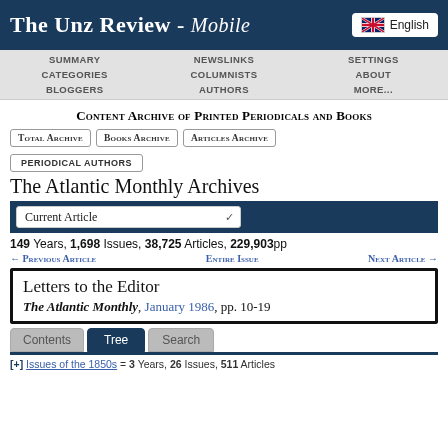The Unz Review - Mobile | English
SUMMARY | NEWSLINKS | SETTINGS | CATEGORIES | COLUMNISTS | ABOUT | BLOGGERS | AUTHORS | MORE...
Content Archive of Printed Periodicals and Books
Total Archive | Books Archive | Articles Archive
PERIODICAL AUTHORS
The Atlantic Monthly Archives
Current Article
149 Years, 1,698 Issues, 38,725 Articles, 229,903pp
← Previous Article | Entire Issue | Next Article →
Letters to the Editor
The Atlantic Monthly, January 1986, pp. 10-19
Contents | Tree | Search
[+] Issues of the 1850s = 3 Years, 26 Issues, 511 Articles